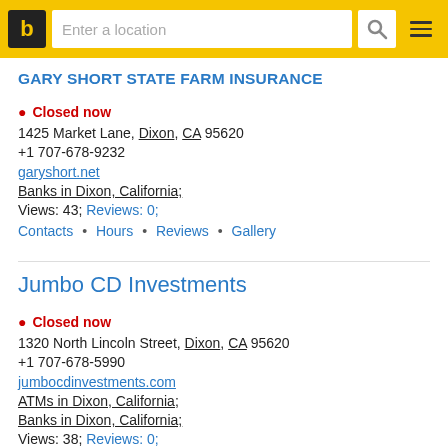b | Enter a location
GARY SHORT STATE FARM INSURANCE
● Closed now
1425 Market Lane, Dixon, CA 95620
+1 707-678-9232
garyshort.net
Banks in Dixon, California;
Views: 43; Reviews: 0;
Contacts • Hours • Reviews • Gallery
Jumbo CD Investments
● Closed now
1320 North Lincoln Street, Dixon, CA 95620
+1 707-678-5990
jumbocdinvestments.com
ATMs in Dixon, California;
Banks in Dixon, California;
Views: 38; Reviews: 0;
Contacts • Hours • Reviews • Gallery